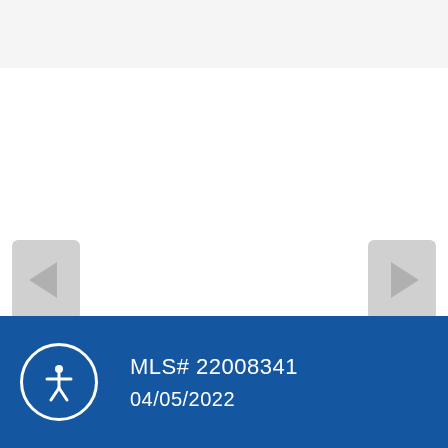[Figure (screenshot): Real estate listing page UI with navigation arrows on left and right, a gray top bar, white main content area, and a dark blue footer bar.]
MLS# 22008341
04/05/2022